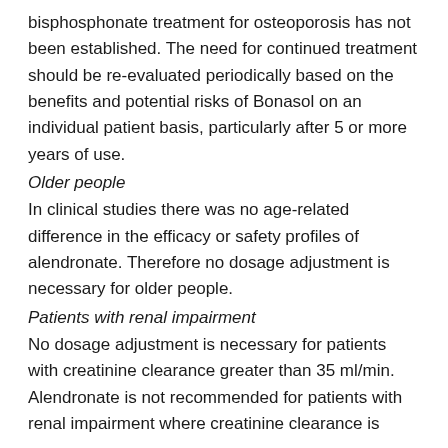bisphosphonate treatment for osteoporosis has not been established. The need for continued treatment should be re-evaluated periodically based on the benefits and potential risks of Bonasol on an individual patient basis, particularly after 5 or more years of use.
Older people
In clinical studies there was no age-related difference in the efficacy or safety profiles of alendronate. Therefore no dosage adjustment is necessary for older people.
Patients with renal impairment
No dosage adjustment is necessary for patients with creatinine clearance greater than 35 ml/min. Alendronate is not recommended for patients with renal impairment where creatinine clearance is